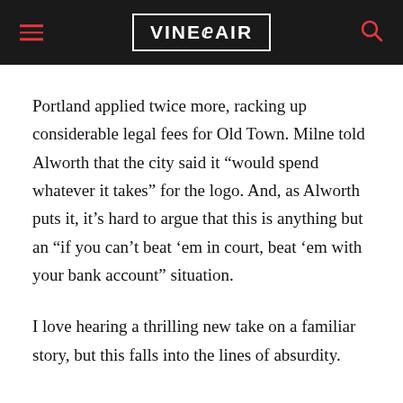VinePair
Portland applied twice more, racking up considerable legal fees for Old Town. Milne told Alworth that the city said it “would spend whatever it takes” for the logo. And, as Alworth puts it, it’s hard to argue that this is anything but an “if you can’t beat ‘em in court, beat ‘em with your bank account” situation.
I love hearing a thrilling new take on a familiar story, but this falls into the lines of absurdity.